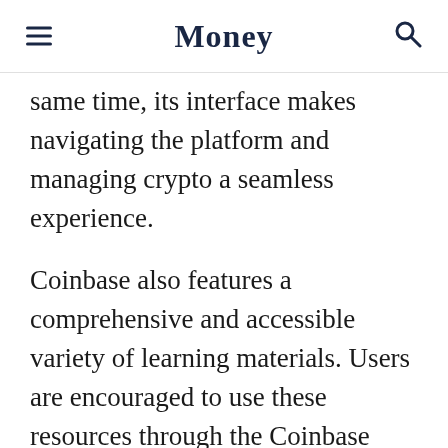Money
same time, its interface makes navigating the platform and managing crypto a seamless experience.
Coinbase also features a comprehensive and accessible variety of learning materials. Users are encouraged to use these resources through the Coinbase Earn program, which teaches how to trade specific cryptocurrencies and rewards users with free crypto.
Lastly, the exchange's security features are worth mentioning: Coinbase uses two-factor